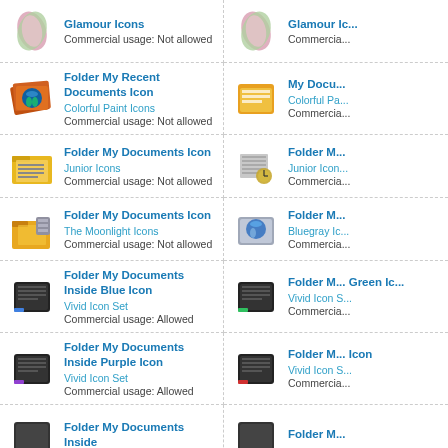Glamour Icons
Commercial usage: Not allowed
Glamour Icons
Commercial usage: Not allowed
Folder My Recent Documents Icon
Colorful Paint Icons
Commercial usage: Not allowed
My Documents Icon
Colorful Paint Icons
Commercial usage: Not allowed
Folder My Documents Icon
Junior Icons
Commercial usage: Not allowed
Folder My Documents Icon
Junior Icons
Commercial usage: Not allowed
Folder My Documents Icon
The Moonlight Icons
Commercial usage: Not allowed
Folder My Documents Icon
Bluegray Icons
Commercial usage: Not allowed
Folder My Documents Inside Blue Icon
Vivid Icon Set
Commercial usage: Allowed
Folder My Documents Inside Green Icon
Vivid Icon Set
Commercial usage: Allowed
Folder My Documents Inside Purple Icon
Vivid Icon Set
Commercial usage: Allowed
Folder My Documents Inside Red Icon
Vivid Icon Set
Commercial usage: Allowed
Folder My Documents Inside
Folder My Documents